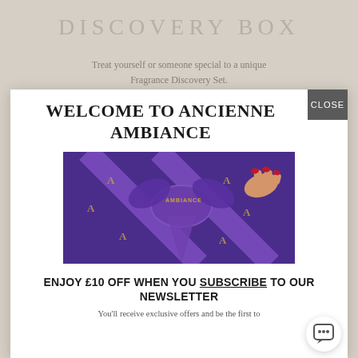DISCOVERY BOX
Treat yourself or someone special to a unique Fragrance Discovery Set.
WELCOME TO ANCIENNE AMBIANCE
[Figure (photo): Close-up of a purple gift box being held with a purple satin ribbon tied in a bow, printed with gold 'A' logos for Ancienne Ambiance brand, and a hand with red nail polish pulling the ribbon.]
ENJOY £10 OFF WHEN YOU SUBSCRIBE TO OUR NEWSLETTER
You'll receive exclusive offers and be the first to